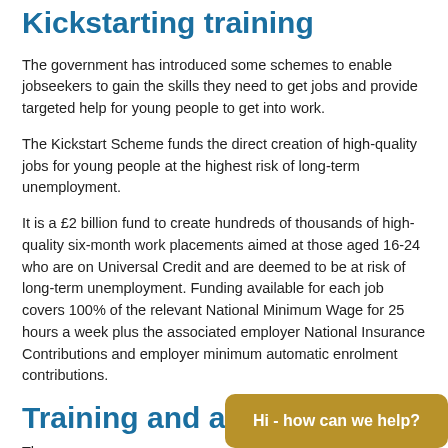Kickstarting training
The government has introduced some schemes to enable jobseekers to gain the skills they need to get jobs and provide targeted help for young people to get into work.
The Kickstart Scheme funds the direct creation of high-quality jobs for young people at the highest risk of long-term unemployment.
It is a £2 billion fund to create hundreds of thousands of high-quality six-month work placements aimed at those aged 16-24 who are on Universal Credit and are deemed to be at risk of long-term unemployment. Funding available for each job covers 100% of the relevant National Minimum Wage for 25 hours a week plus the associated employer National Insurance Contributions and employer minimum automatic enrolment contributions.
Training and a
The...